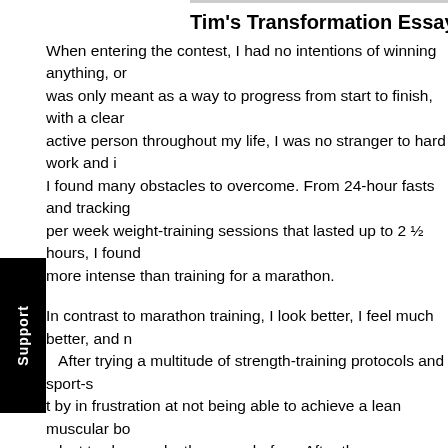Tim's Transformation Essay:
When entering the contest, I had no intentions of winning anything, or was only meant as a way to progress from start to finish, with a clear active person throughout my life, I was no stranger to hard work and I found many obstacles to overcome. From 24-hour fasts and tracking per week weight-training sessions that lasted up to 2 ½ hours, I found more intense than training for a marathon.
In contrast to marathon training, I look better, I feel much better, and r After trying a multitude of strength-training protocols and sport-s t by in frustration at not being able to achieve a lean muscular bo e last twelve weeks than ever before. After three years away from king on SCUBA-dive boats in the Caribbean, I started the AI progr Muscle Building Foundation (MBF) to Final Phase. These, along within the system, all seem to be sustainable, incorporating things tha physique AND strength, yet changes often enough to keep one from g
But, the biggest surprise and change came from nutrition and fasting. these two things than I ever thought possible. This aspect, especially, Sure, I will still eat chocolate, drink red wine, eat a burger & fries or p cream, but over the days, weeks and months, it will not happen as oft